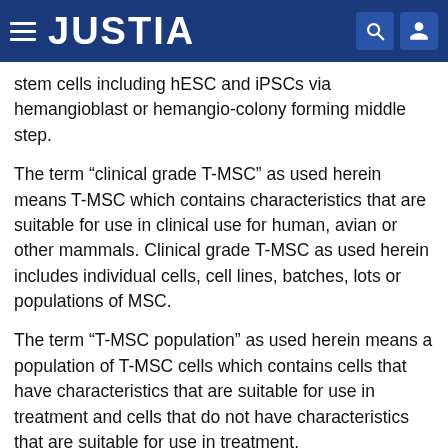JUSTIA
stem cells including hESC and iPSCs via hemangioblast or hemangio-colony forming middle step.
The term “clinical grade T-MSC” as used herein means T-MSC which contains characteristics that are suitable for use in clinical use for human, avian or other mammals. Clinical grade T-MSC as used herein includes individual cells, cell lines, batches, lots or populations of MSC.
The term “T-MSC population” as used herein means a population of T-MSC cells which contains cells that have characteristics that are suitable for use in treatment and cells that do not have characteristics that are suitable for use in treatment.
The term “T-MSC derived lineages” or T-MSC-DL as used herein means cells or cell lineages differentiated from T-MSC including, but not limited to, adipocytes, myoblast